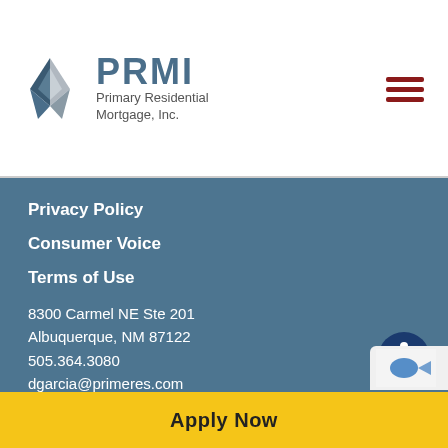[Figure (logo): PRMI - Primary Residential Mortgage, Inc. logo with diamond/house icon in blue-grey, bold PRMI text, and subtitle 'Primary Residential Mortgage, Inc.']
[Figure (other): Hamburger menu icon with three dark red horizontal lines]
Privacy Policy
Consumer Voice
Terms of Use
8300 Carmel NE Ste 201
Albuquerque, NM 87122
505.364.3080
dgarcia@primeres.com
Branch NMLS # 1950356
[Figure (illustration): Accessibility icon - circular dark blue button with white wheelchair/person symbol]
Apply Now